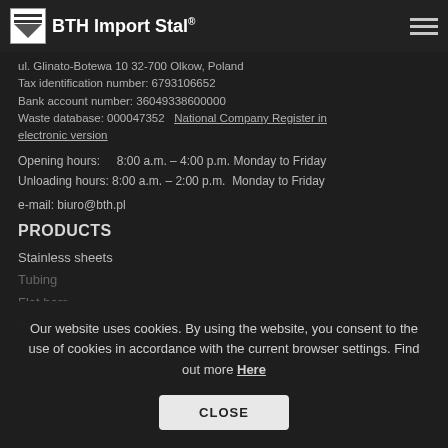BTH Import Stal
ul. Glinato-Botewa 10 32-700 Olkow, Poland
Tax identification number: 6793106652
Bank account number: 36049338600000
Waste database: 000047352  National Company Register in electronic version
Opening hours:    8:00 a.m. – 4:00 p.m. Monday to Friday
Unloading hours: 8:00 a.m. – 2:00 p.m.  Monday to Friday
e-mail: biuro@bth.pl
PRODUCTS
Stainless sheets
Tubing
Flat bars
Rods
Structural Sections
Our website uses cookies. By using the website, you consent to the use of cookies in accordance with the current browser settings. Find out more Here
CLOSE